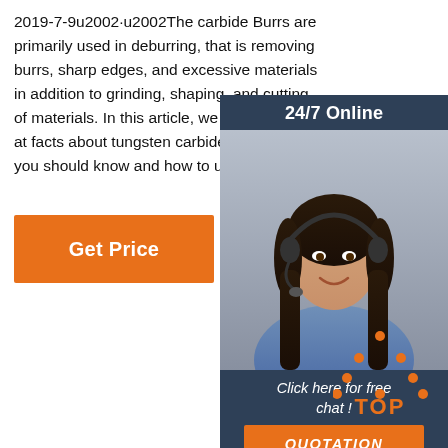2019-7-9u2002·u2002The carbide Burrs are primarily used in deburring, that is removing burrs, sharp edges, and excessive materials in addition to grinding, shaping, and cutting of materials. In this article, we will be looking at facts about tungsten carbide burrs that you should know and how to use them.
[Figure (other): Get Price orange button]
[Figure (other): 24/7 Online chat widget with a woman wearing a headset, dark blue background, text 'Click here for free chat !' and an orange QUOTATION button]
[Figure (other): TOP icon — orange dotted triangle with the word TOP below it]